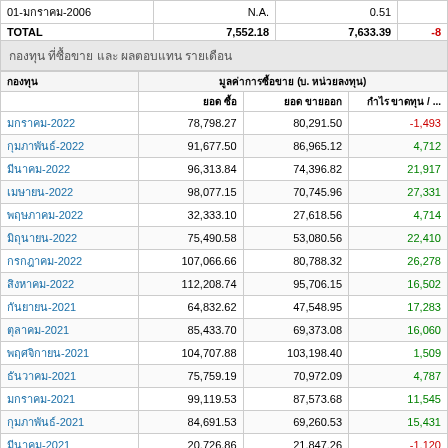|  | ยอด ซื้อ | ยอด ขายออก | กำไร ขาดทุน / ... |
| --- | --- | --- | --- |
| 01-มกราคม-2006 | N.A. | 0.51 |  |
| TOTAL | 7,552.18 | 7,633.39 | -8... |
| มกราคม-2022 | 78,798.27 | 80,291.50 | -1,493 |
| กุมภาพันธ์-2022 | 91,677.50 | 86,965.12 | 4,712 |
| มีนาคม-2022 | 96,313.84 | 74,396.82 | 21,917 |
| เมษายน-2022 | 98,077.15 | 70,745.96 | 27,331 |
| พฤษภาคม-2022 | 32,333.10 | 27,618.56 | 4,714 |
| มิถุนายน-2022 | 75,490.58 | 53,080.56 | 22,410 |
| กรกฎาคม-2022 | 107,066.66 | 80,788.32 | 26,278 |
| สิงหาคม-2022 | 112,208.74 | 95,706.15 | 16,502 |
| กันยายน-2021 | 64,832.62 | 47,548.95 | 17,283 |
| ตุลาคม-2021 | 85,433.70 | 69,373.08 | 16,060 |
| พฤศจิกายน-2021 | 104,707.88 | 103,198.40 | 1,509 |
| ธันวาคม-2021 | 75,759.19 | 70,972.09 | 4,787 |
| มกราคม-2021 | 99,119.53 | 87,573.68 | 11,545 |
| กุมภาพันธ์-2021 | 84,691.53 | 69,260.53 | 15,431 |
| มีนาคม-2021 | 20,726.86 | 21,847.26 | -1,120 |
| เมษายน-2021 | 74,835.88 | 74,676.77 | 159 |
| พฤษภาคม-2021 | 60,954.13 | 55,020.75 | 5,933 |
| มิถุนายน-2021 | 76,583.04 | 74,106.59 | 2,476 |